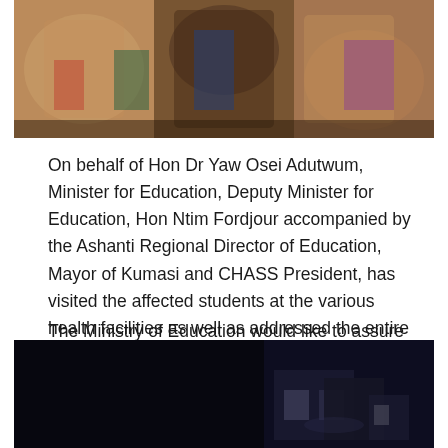[Figure (photo): Group of people at a press conference or public event, some holding microphones, colorful clothing visible]
On behalf of Hon Dr Yaw Osei Adutwum, Minister for Education, Deputy Minister for Education, Hon Ntim Fordjour accompanied by the Ashanti Regional Director of Education, Mayor of Kumasi and CHASS President, has visited the affected students at the various health facilities as well as addressed the entire student population on campus.
The Ministry of Education would like to assure the public that all the affected students are responding to medical treatment and are in good condition.
[Figure (photo): Nighttime exterior photo of a building with dim lighting]